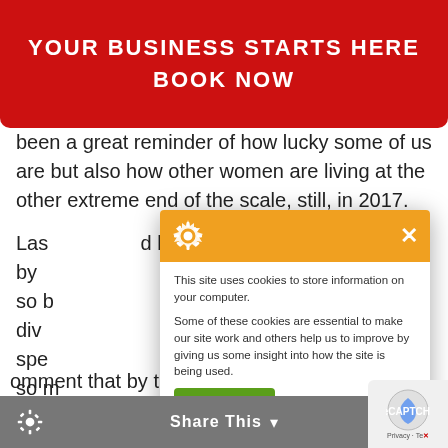YOUR BUSINESS STARTS HERE
BOOK NOW
been a great reminder of how lucky some of us are but also how other women are living at the other extreme end of the scale, still, in 2017.
Last... d birthday supper by... al evening! I feel so b... ful, interesting, div... e all agreed that spe... like that was just so m... omforting – just ver... are problems or put... eing with friends. We... someone mad omment that by the time you are in your
[Figure (screenshot): Cookie consent popup with orange header showing gear icon and X close button, body text about cookies, and green 'I'm fine with this' button]
Share This